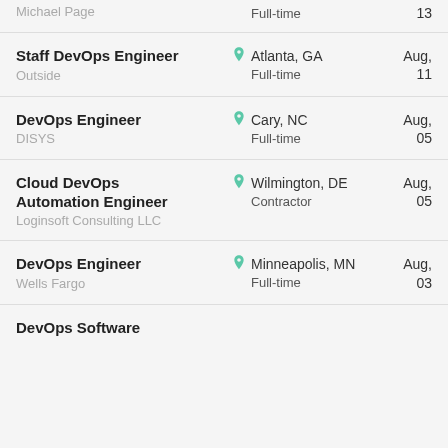Michael Page | Full-time | 13
Staff DevOps Engineer | Outside | Atlanta, GA | Full-time | Aug, 11
DevOps Engineer | DISYS | Cary, NC | Full-time | Aug, 05
Cloud DevOps Automation Engineer | Loginsoft Consulting LLC | Wilmington, DE | Contractor | Aug, 05
DevOps Engineer | Wells Fargo | Minneapolis, MN | Full-time | Aug, 03
DevOps Software